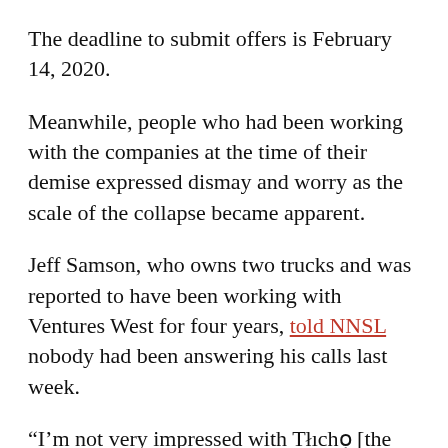The deadline to submit offers is February 14, 2020.
Meanwhile, people who had been working with the companies at the time of their demise expressed dismay and worry as the scale of the collapse became apparent.
Jeff Samson, who owns two trucks and was reported to have been working with Ventures West for four years, told NNSL nobody had been answering his calls last week.
“I’m not very impressed with Tłıchọ [the investment corporation] right now,” Samson told the newspaper. “I understand their circumstance but some notice would have been